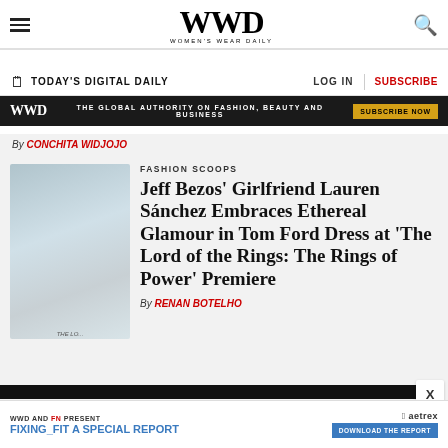WWD WOMEN'S WEAR DAILY
TODAY'S DIGITAL DAILY | LOG IN | SUBSCRIBE
[Figure (screenshot): WWD advertisement banner: 'THE GLOBAL AUTHORITY ON FASHION, BEAUTY AND BUSINESS' with SUBSCRIBE NOW button]
By CONCHITA WIDJOJO
[Figure (photo): Jeff Bezos and Lauren Sanchez posing together at an event in front of a step-and-repeat backdrop]
FASHION SCOOPS
Jeff Bezos' Girlfriend Lauren Sánchez Embraces Ethereal Glamour in Tom Ford Dress at 'The Lord of the Rings: The Rings of Power' Premiere
By RENAN BOTELHO
[Figure (screenshot): WWD and FN present FIXING_FIT A SPECIAL REPORT - DOWNLOAD THE REPORT button, with Aetrex logo]
WWD AND FN PRESENT | FIXING_FIT A SPECIAL REPORT | DOWNLOAD THE REPORT | aetrex